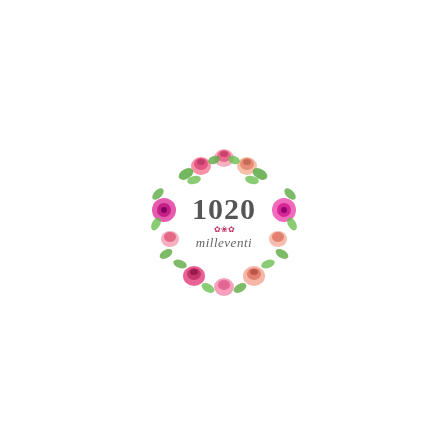[Figure (logo): Circular floral wreath logo with pink, magenta, and salmon watercolor flowers and green leaves, containing the text '1020' in large dark gray serif numerals and 'milleventi' in smaller italic script below, with small decorative floral divider between the number and word.]